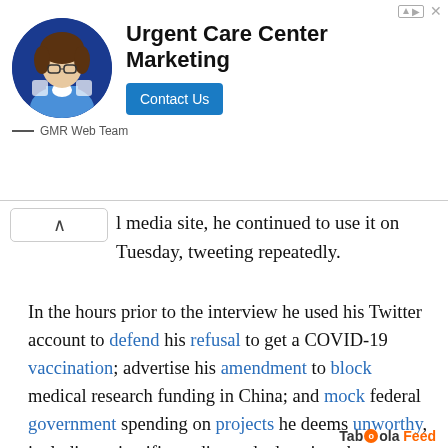[Figure (screenshot): Advertisement banner for Urgent Care Center Marketing by GMR Web Team, featuring a person in medical attire, bold headline text, and a blue Contact Us button.]
l media site, he continued to use it on Tuesday, tweeting repeatedly.
In the hours prior to the interview he used his Twitter account to defend his refusal to get a COVID-19 vaccination; advertise his amendment to block medical research funding in China; and mock federal government spending on projects he deems unworthy, including scientific studies and education about climate science.
Published with permission of The American Independent Foundation.
Taboola Feed